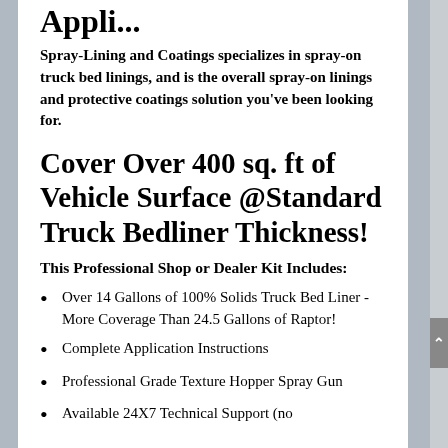Appli...
Spray-Lining and Coatings specializes in spray-on truck bed linings, and is the overall spray-on linings and protective coatings solution you've been looking for.
Cover Over 400 sq. ft of Vehicle Surface @Standard Truck Bedliner Thickness!
This Professional Shop or Dealer Kit Includes:
Over 14 Gallons of 100% Solids Truck Bed Liner - More Coverage Than 24.5 Gallons of Raptor!
Complete Application Instructions
Professional Grade Texture Hopper Spray Gun
Available 24X7 Technical Support (no